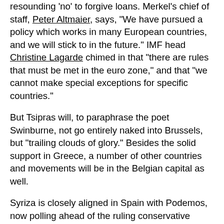resounding 'no' to forgive loans. Merkel's chief of staff, Peter Altmaier, says, "We have pursued a policy which works in many European countries, and we will stick to in the future." IMF head Christine Lagarde chimed in that "there are rules that must be met in the euro zone," and that "we cannot make special exceptions for specific countries."
But Tsipras will, to paraphrase the poet Swinburne, not go entirely naked into Brussels, but "trailing clouds of glory." Besides the solid support in Greece, a number of other countries and movements will be in the Belgian capital as well.
Syriza is closely aligned in Spain with Podemos, now polling ahead of the ruling conservative People's Party. "2015 will be the year of change in Spain and Europe," tweeted Podemos leader Pablo Iglesias in the aftermath of the election, "let's go Alexis, let's go!" Unemployment in Spain is 24 percent, and over 50 percent for young people.
Gerry Adams of Sinn Fein—now the third largest party in the Irish Republic—hailed the vote as opening "up the real prospect of